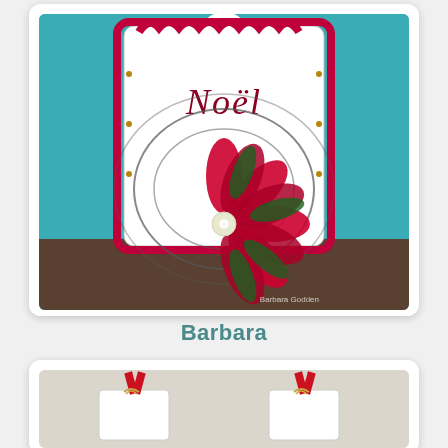[Figure (photo): A Christmas card craft featuring a white tag-shaped card with 'Noël' written in red script, decorated with a red and green metallic poinsettia flower and swirling circular die-cut elements, displayed on a stand against a teal background. Watermark reads 'Barbara Godden'.]
Barbara
[Figure (photo): Two small white gift tags or favor bags tied with red ribbon bows and natural raffia, displayed side by side on a light background.]